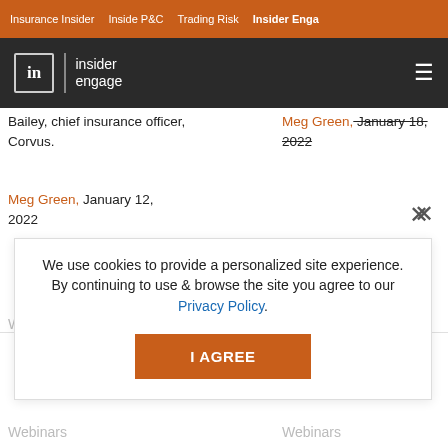Insurance Insider | Inside P&C | Trading Risk | Insider Engage
[Figure (logo): Insider Engage logo with 'in' icon and hamburger menu on dark background]
Bailey, chief insurance officer, Corvus.
Meg Green, January 12, 2022
Meg Green, January 18, 2022
Webinars »
We use cookies to provide a personalized site experience. By continuing to use & browse the site you agree to our Privacy Policy.
I AGREE
Webinars
Webinars